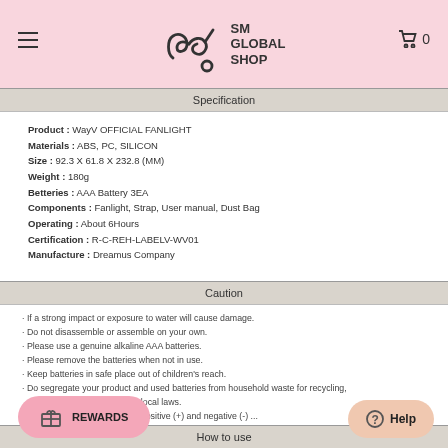[Figure (logo): SM Global Shop logo with stylized S and M letters and text SM GLOBAL SHOP]
Specification
Product : WayV OFFICIAL FANLIGHT
Materials : ABS, PC, SILICON
Size : 92.3 X 61.8 X 232.8 (MM)
Weight : 180g
Betteries : AAA Battery 3EA
Components : Fanlight, Strap, User manual, Dust Bag
Operating : About 6Hours
Certification : R-C-REH-LABELV-WV01
Manufacture : Dreamus Company
Caution
If a strong impact or exposure to water will cause damage.
Do not disassemble or assemble on your own.
Please use a genuine alkaline AAA batteries.
Please remove the batteries when not in use.
Keep batteries in safe place out of children's reach.
Do segregate your product and used batteries from household waste for recycling, where possible, according to local laws.
...symbols for positioning the positive (+) and negative (-) ...ct malfunction and overheating which may result fire or b... ...nterference during wireless operation.
How to use